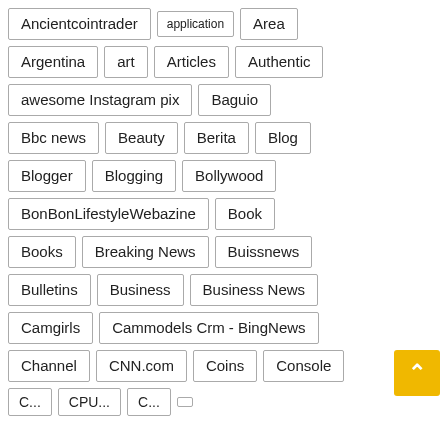Ancientcointrader
application
Area
Argentina
art
Articles
Authentic
awesome Instagram pix
Baguio
Bbc news
Beauty
Berita
Blog
Blogger
Blogging
Bollywood
BonBonLifestyleWebazine
Book
Books
Breaking News
Buissnews
Bulletins
Business
Business News
Camgirls
Cammodels Crm - BingNews
Channel
CNN.com
Coins
Console